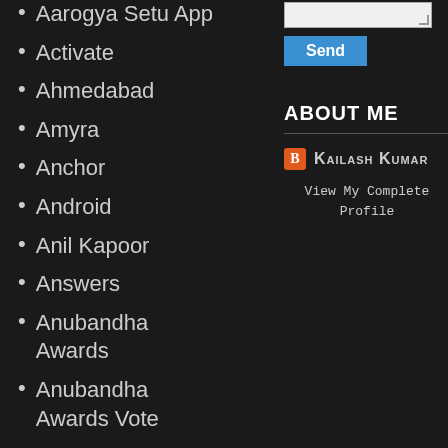Aarogya Setu App
Activate
Ahmedabad
Amyra
Anchor
Android
Anil Kapoor
Answers
Anubandha Awards
Anubandha Awards Vote
Anusha Mishra
Apk
APP
ABOUT ME
Kailash Kumar
View My Complete Profile